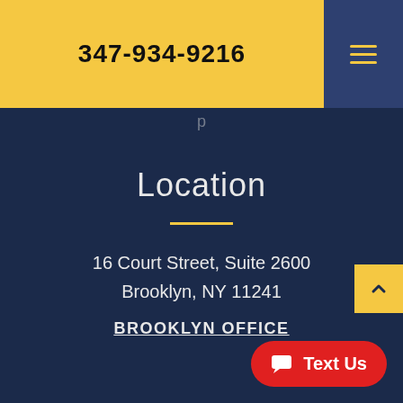347-934-9216
p
Location
16 Court Street, Suite 2600
Brooklyn, NY 11241
BROOKLYN OFFICE